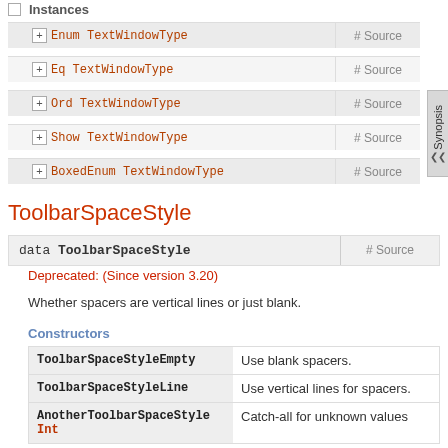Instances
Enum TextWindowType  # Source
Eq TextWindowType  # Source
Ord TextWindowType  # Source
Show TextWindowType  # Source
BoxedEnum TextWindowType  # Source
ToolbarSpaceStyle
data ToolbarSpaceStyle  # Source
Deprecated: (Since version 3.20)
Whether spacers are vertical lines or just blank.
Constructors
| Constructor | Description |
| --- | --- |
| ToolbarSpaceStyleEmpty | Use blank spacers. |
| ToolbarSpaceStyleLine | Use vertical lines for spacers. |
| AnotherToolbarSpaceStyle
Int | Catch-all for unknown values |